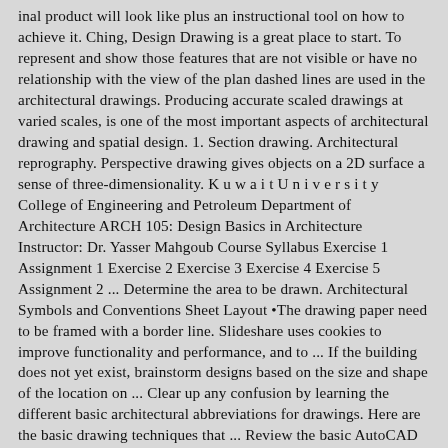inal product will look like plus an instructional tool on how to achieve it. Ching, Design Drawing is a great place to start. To represent and show those features that are not visible or have no relationship with the view of the plan dashed lines are used in the architectural drawings. Producing accurate scaled drawings at varied scales, is one of the most important aspects of architectural drawing and spatial design. 1. Section drawing. Architectural reprography. Perspective drawing gives objects on a 2D surface a sense of three-dimensionality. K u w a i t U n i v e r s i t y College of Engineering and Petroleum Department of Architecture ARCH 105: Design Basics in Architecture Instructor: Dr. Yasser Mahgoub Course Syllabus Exercise 1 Assignment 1 Exercise 2 Exercise 3 Exercise 4 Exercise 5 Assignment 2 ... Determine the area to be drawn. Architectural Symbols and Conventions Sheet Layout •The drawing paper need to be framed with a border line. Slideshare uses cookies to improve functionality and performance, and to ... If the building does not yet exist, brainstorm designs based on the size and shape of the location on ... Clear up any confusion by learning the different basic architectural abbreviations for drawings. Here are the basic drawing techniques that ... Review the basic AutoCAD and AutoCAD LT controls. Alvin Basic Architectural Drafting Kit Drafting Kits: Drafting kit contains one each of: 12 plastic